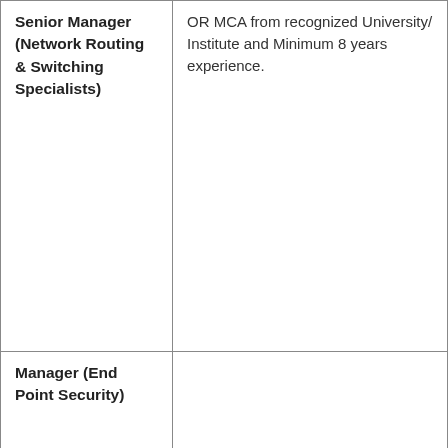| Position | Qualification/Experience |
| --- | --- |
| Senior Manager (Network Routing & Switching Specialists) | OR MCA from recognized University/Institute and Minimum 8 years experience. |
| Manager (End Point Security) |  |
| Manager (Data Centre) – System Administrator Solaris/Unix |  |
| Manager (Data Centre) – System Administrator |  |